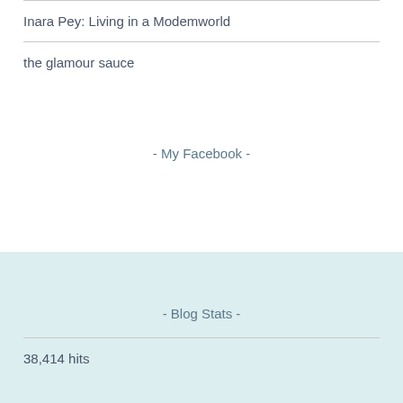Inara Pey: Living in a Modemworld
the glamour sauce
- My Facebook -
- Blog Stats -
38,414 hits